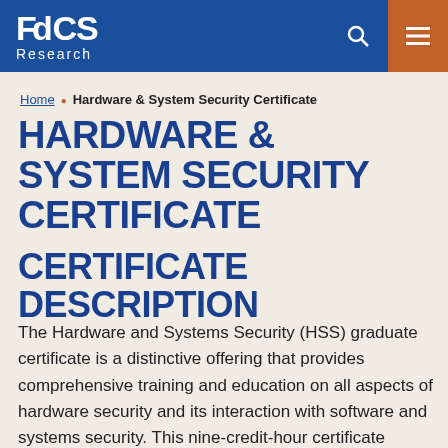FBCS Research
Home • Hardware & System Security Certificate
HARDWARE & SYSTEM SECURITY CERTIFICATE
CERTIFICATE DESCRIPTION
The Hardware and Systems Security (HSS) graduate certificate is a distinctive offering that provides comprehensive training and education on all aspects of hardware security and its interaction with software and systems security. This nine-credit-hour certificate program provides students with a solid foundation of security issues